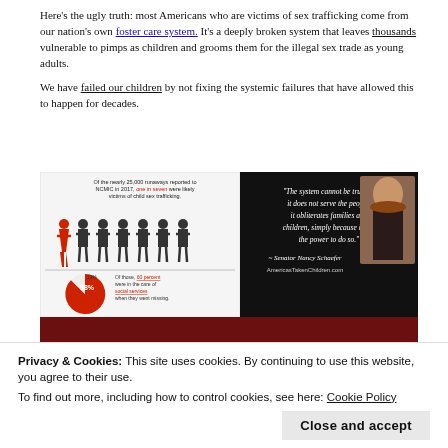Here's the ugly truth: most Americans who are victims of sex trafficking come from our nation's own foster care system. It's a deeply broken system that leaves thousands vulnerable to pimps as children and grooms them for the illegal sex trade as young adults.
We have failed our children by not fixing the systemic failures that have allowed this to happen for decades.
[Figure (infographic): Infographic split into two panels. Left panel on white: text saying 'Of the nearly 25,000 runaways reported to NCMIC in 2017, one in seven were likely victims of child sex trafficking' with silhouette figures (one red female, six dark male) and a pie chart showing 88% (labeled 12% and 88%) with text 'Of those, 60 percent were in the care of social services when they went missing.' Right panel on black: quote in italic white text 'The system cannot be trusted, it does not serve the people, it obliterates families and children, simply because it has the power to do so.' - Senator Nancy Schaefer, AmericasTakenChildren.com, with a photo of Senator Nancy Schaefer. Below both panels is a dark red/maroon background area.]
Privacy & Cookies: This site uses cookies. By continuing to use this website, you agree to their use. To find out more, including how to control cookies, see here: Cookie Policy
Close and accept